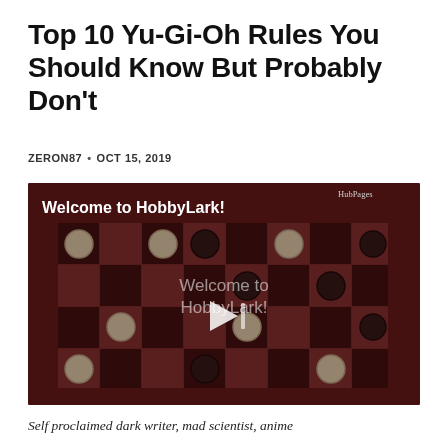Top 10 Yu-Gi-Oh Rules You Should Know But Probably Don't
ZERON87 • OCT 15, 2019
[Figure (photo): Video player thumbnail showing a checkers board game with pieces, overlaid with text 'Welcome to HobbyLark!' and a play button in the center. HubPages logo in top right corner.]
Self proclaimed dark writer, mad scientist, anime